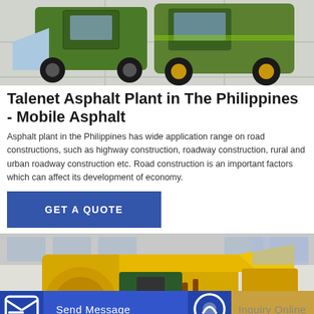[Figure (photo): Construction machinery - a green loader/wheel loader with bucket on concrete surface]
Talenet Asphalt Plant in The Philippines - Mobile Asphalt
Asphalt plant in the Philippines has wide application range on road constructions, such as highway construction, roadway construction, rural and urban roadway construction etc. Road construction is an important factors which can affect its development of economy.
[Figure (photo): Yellow industrial concrete pump / machinery with engine visible, inside a factory/warehouse]
[Figure (other): Bottom navigation bar with Send Message button (blue) and Inquiry Online button (tan/gold)]